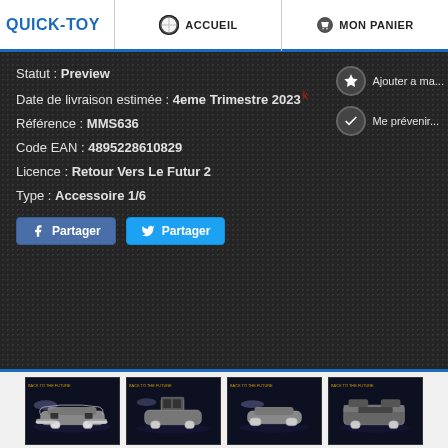QUICK-TOY | ACCUEIL | MON PANIER
Statut : Preview
Date de livraison estimée : 4eme Trimestre 2023
Référence : MMS636
Code EAN : 4895228610829
Licence : Retour Vers Le Futur 2
Type : Accessoire 1/6
Ajouter a ma...
Me prévenir
Partager  Partager
[Figure (screenshot): Four thumbnail images of a DeLorean car (Back to the Future) from different angles against dark backgrounds]